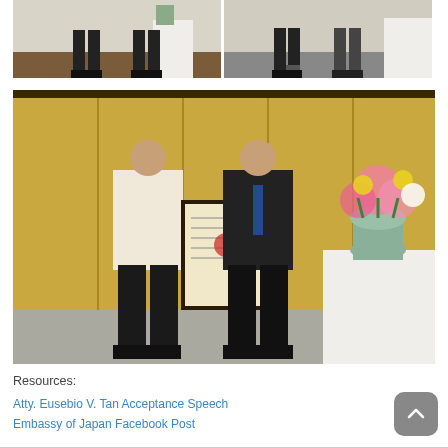[Figure (photo): Two side-by-side photos showing people standing at a formal ceremony, cropped at the lower portion showing legs and formal attire]
[Figure (photo): Large photo of two men holding a framed certificate/award in front of a gold Japanese folding screen with a floral arrangement on a white-draped table to the right]
Resources:
Atty. Eusebio V. Tan Acceptance Speech
Embassy of Japan Facebook Post